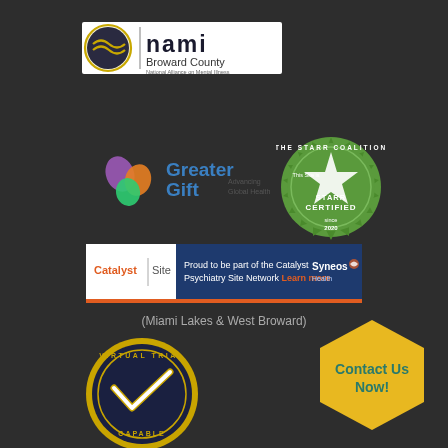[Figure (logo): NAMI Broward County logo - National Alliance on Mental Illness with gold circular icon]
[Figure (logo): Greater Gift - Advancing Global Health logo with colorful leaf/person icon]
[Figure (logo): STARR Certified green circular badge with star - The Starr Coalition since 2020]
[Figure (logo): Catalyst Site - Proud to be part of the Catalyst Psychiatry Site Network Learn more - Syneos Health banner]
(Miami Lakes & West Broward)
[Figure (logo): Virtual Trial Capable circular badge with navy blue background and gold/white V checkmark]
[Figure (illustration): Yellow hexagon Contact Us Now! button]